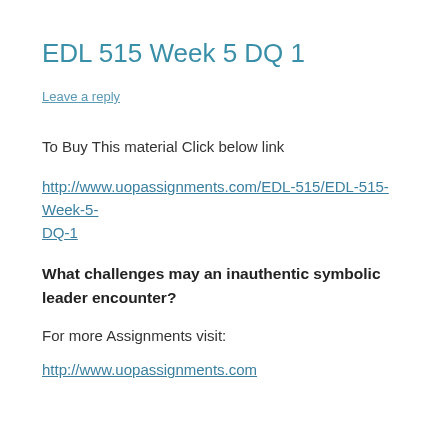EDL 515 Week 5 DQ 1
Leave a reply
To Buy This material Click below link
http://www.uopassignments.com/EDL-515/EDL-515-Week-5-DQ-1
What challenges may an inauthentic symbolic leader encounter?
For more Assignments visit:
http://www.uopassignments.com